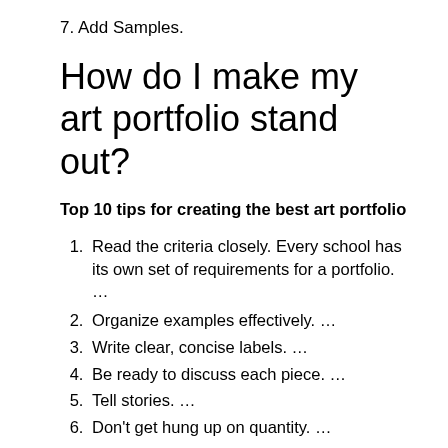7. Add Samples.
How do I make my art portfolio stand out?
Top 10 tips for creating the best art portfolio
1. Read the criteria closely. Every school has its own set of requirements for a portfolio. …
2. Organize examples effectively. …
3. Write clear, concise labels. …
4. Be ready to discuss each piece. …
5. Tell stories. …
6. Don't get hung up on quantity. …
7. Get outside advice. …
8. Showcase your technical ability.